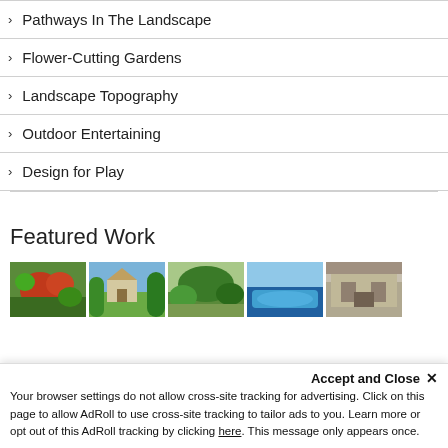> Pathways In The Landscape
> Flower-Cutting Gardens
> Landscape Topography
> Outdoor Entertaining
> Design for Play
Featured Work
[Figure (photo): Row of five landscape/garden thumbnail photos]
Accept and Close ×
Your browser settings do not allow cross-site tracking for advertising. Click on this page to allow AdRoll to use cross-site tracking to tailor ads to you. Learn more or opt out of this AdRoll tracking by clicking here. This message only appears once.